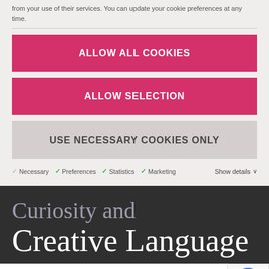from your use of their services. You can update your cookie preferences at any time.
ALLOW ALL COOKIES
ALLOW SELECTION
USE NECESSARY COOKIES ONLY
✓ Necessary  ✓ Preferences  ✓ Statistics  ✓ Marketing  Show details ∨
Curiosity and Creative Language
Manchester Art Gallery hosts a